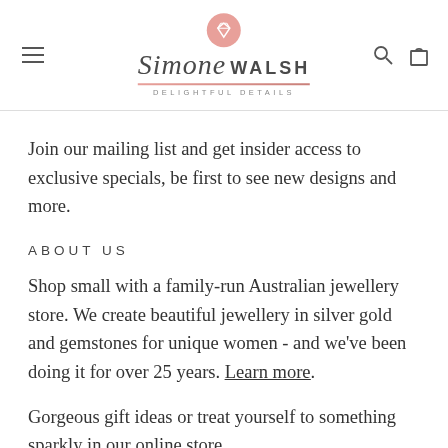Simone Walsh — Delightful Details
Join our mailing list and get insider access to exclusive specials, be first to see new designs and more.
ABOUT US
Shop small with a family-run Australian jewellery store. We create beautiful jewellery in silver gold and gemstones for unique women - and we've been doing it for over 25 years. Learn more.
Gorgeous gift ideas or treat yourself to something sparkly in our online store.